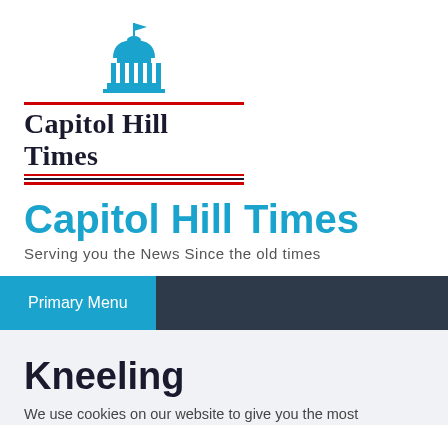[Figure (logo): Capitol Hill Times logo: blue capitol dome icon above two red lines flanking a dark line, with bold serif text 'Capitol Hill Times' below]
Capitol Hill Times
Serving you the News Since the old times
Primary Menu
Kneeling
We use cookies on our website to give you the most